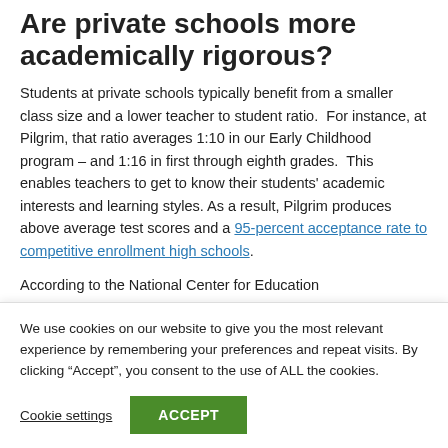Are private schools more academically rigorous?
Students at private schools typically benefit from a smaller class size and a lower teacher to student ratio.  For instance, at Pilgrim, that ratio averages 1:10 in our Early Childhood program – and 1:16 in first through eighth grades.  This enables teachers to get to know their students' academic interests and learning styles. As a result, Pilgrim produces above average test scores and a 95-percent acceptance rate to competitive enrollment high schools.
According to the National Center for Education
We use cookies on our website to give you the most relevant experience by remembering your preferences and repeat visits. By clicking "Accept", you consent to the use of ALL the cookies.
Cookie settings | ACCEPT